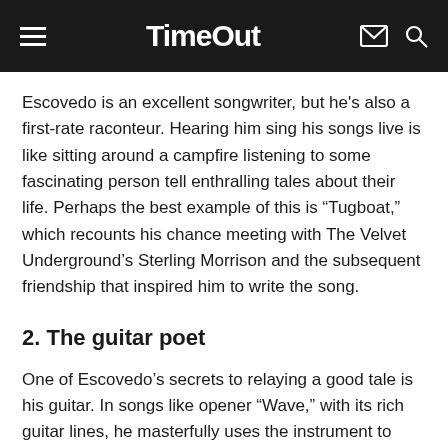Time Out
Escovedo is an excellent songwriter, but he's also a first-rate raconteur. Hearing him sing his songs live is like sitting around a campfire listening to some fascinating person tell enthralling tales about their life. Perhaps the best example of this is “Tugboat,” which recounts his chance meeting with The Velvet Underground’s Sterling Morrison and the subsequent friendship that inspired him to write the song.
2. The guitar poet
One of Escovedo’s secrets to relaying a good tale is his guitar. In songs like opener “Wave,” with its rich guitar lines, he masterfully uses the instrument to manage the theatrics of a moment. And the crowd went insane when he did a